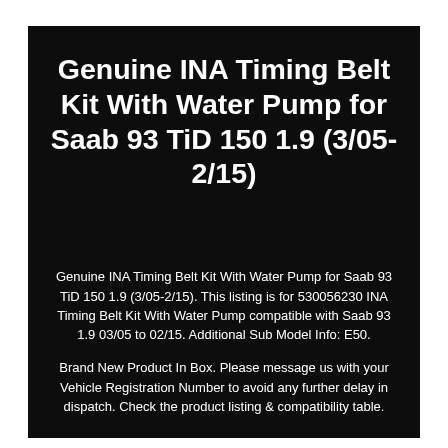Genuine INA Timing Belt Kit With Water Pump for Saab 93 TiD 150 1.9 (3/05-2/15)
Genuine INA Timing Belt Kit With Water Pump for Saab 93 TiD 150 1.9 (3/05-2/15). This listing is for 530056230 INA Timing Belt Kit With Water Pump compatible with Saab 93 1.9 03/05 to 02/15. Additional Sub Model Info: E50.
Brand New Product In Box. Please message us with your Vehicle Registration Number to avoid any further delay in dispatch. Check the product listing & compatibility table.